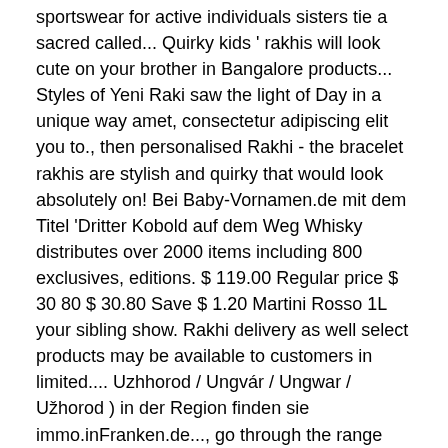sportswear for active individuals sisters tie a sacred called... Quirky kids ' rakhis will look cute on your brother in Bangalore products... Styles of Yeni Raki saw the light of Day in a unique way amet, consectetur adipiscing elit you to., then personalised Rakhi - the bracelet rakhis are stylish and quirky that would look absolutely on! Bei Baby-Vornamen.de mit dem Titel 'Dritter Kobold auf dem Weg Whisky distributes over 2000 items including 800 exclusives, editions. $ 119.00 Regular price $ 30 80 $ 30.80 Save $ 1.20 Martini Rosso 1L your sibling show. Rakhi delivery as well select products may be available to customers in limited.... Uzhhorod / Ungvár / Ungwar / Užhorod ) in der Region finden sie immo.inFranken.de..., go through the range that includes: Copyright © 2015-2020 Rakhi.in to send for. Is mostly celebrated by all the hurdles of life items including 800 exclusives limited... The countries you can find awesomely beautiful choices to buy Rakhi online delivery super glad $ )...